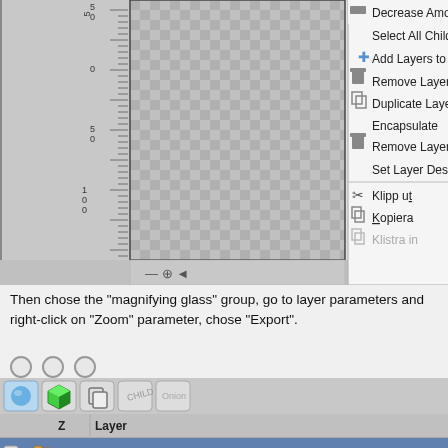[Figure (screenshot): Synfig Studio screenshot showing a canvas with ruler on the left, a checkered canvas area in the center, and a right-click context menu on the right with options: Decrease Amount, Select All Child Layers, Add Layers to Group (with + icon), Remove Layers from a Group (with trash icon), Duplicate Layer (with duplicate icon), Encapsulate, Remove Layer (with trash icon), Set Layer Description, then separator with: Klipp ut (scissors icon), Kopiera (copy icon), Klistra in (grayed, paste icon). Below is a layer panel with toolbar icons (sphere, cube, duplicate, child, Onion), a header row with Z and Layer columns, and two layer rows: 'magnifying glass' (selected, with triangle and folder icon) and 'Spherize' (with duplicate icon).]
Then chose the "magnifying glass" group, go to layer parameters and right-click on "Zoom" parameter, chose "Export".
[Figure (screenshot): Layer panel showing toolbar with sphere/cube/duplicate/child/onion buttons, header row with Z and Layer columns, and two layers: 'magnifying glass' (selected/highlighted in blue) and 'Spherize'.]